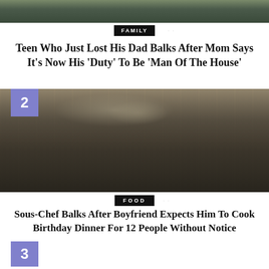[Figure (photo): Top portion of an outdoor photo, partially cropped]
FAMILY
Teen Who Just Lost His Dad Balks After Mom Says It's Now His 'Duty' To Be 'Man Of The House'
[Figure (photo): Chef working in a professional kitchen with stainless steel bowls and cookware, wearing a black apron and white shirt. Number 2 badge overlay in purple top-left.]
FOOD
Sous-Chef Balks After Boyfriend Expects Him To Cook Birthday Dinner For 12 People Without Notice
[Figure (other): Number 3 badge in purple at bottom left, beginning of next article]